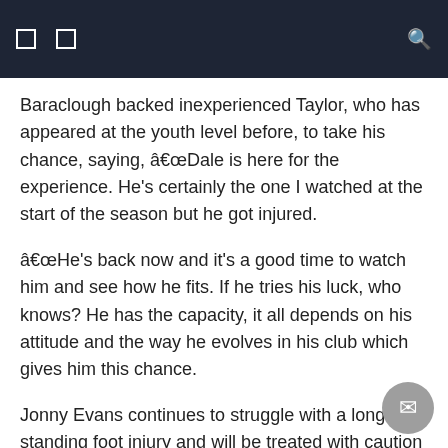Baraclough backed inexperienced Taylor, who has appeared at the youth level before, to take his chance, saying, â€œDale is here for the experience. He’s certainly the one I watched at the start of the season but he got injured.
â€œHe’s back now and it’s a good time to watch him and see how he fits. If he tries his luck, who knows? He has the capacity, it all depends on his attitude and the way he evolves in his club which gives him this chance.
Jonny Evans continues to struggle with a long-standing foot injury and will be treated with caution despite the obvious talismanic qualities of the seasoned Leicester defender.
Jonny Evans is back in the Northern Ireland squad (Liam McBurney / PA)